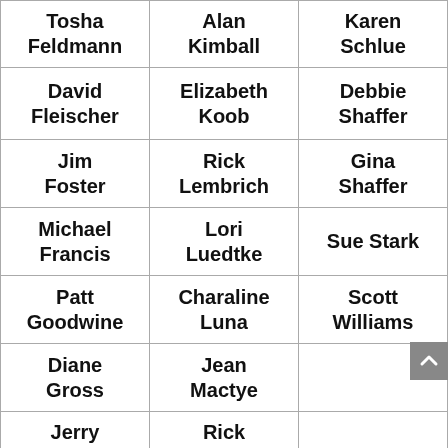| Tosha Feldmann | Alan Kimball | Karen Schlue |
| David Fleischer | Elizabeth Koob | Debbie Shaffer |
| Jim Foster | Rick Lembrich | Gina Shaffer |
| Michael Francis | Lori Luedtke | Sue Stark |
| Patt Goodwine | Charaline Luna | Scott Williams |
| Diane Gross | Jean Mactye |  |
| Jerry | Rick |  |